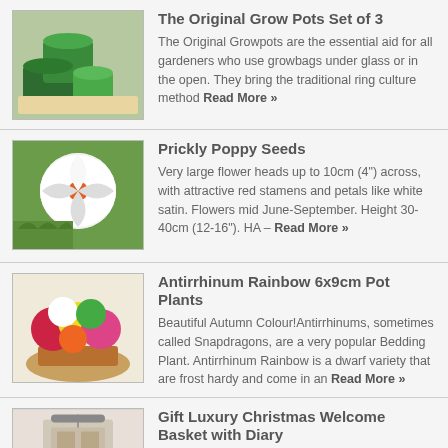[Figure (photo): Green grow pots stacked, with garden background]
The Original Grow Pots Set of 3
The Original Growpots are the essential aid for all gardeners who use growbags under glass or in the open. They bring the traditional ring culture method Read More »
[Figure (photo): White prickly poppy flowers with large petals]
Prickly Poppy Seeds
Very large flower heads up to 10cm (4") across, with attractive red stamens and petals like white satin. Flowers mid June-September. Height 30-40cm (12-16"). HA – Read More »
[Figure (photo): Antirrhinum Rainbow colourful bedding plants in pot]
Antirrhinum Rainbow 6x9cm Pot Plants
Beautiful Autumn Colour!Antirrhinums, sometimes called Snapdragons, are a very popular Bedding Plant. Antirrhinum Rainbow is a dwarf variety that are frost hardy and come in an Read More »
[Figure (photo): Gift luxury Christmas welcome basket with diary]
Gift Luxury Christmas Welcome Basket with Diary
Festival Floral Welcomes The powder coated grey iron stand